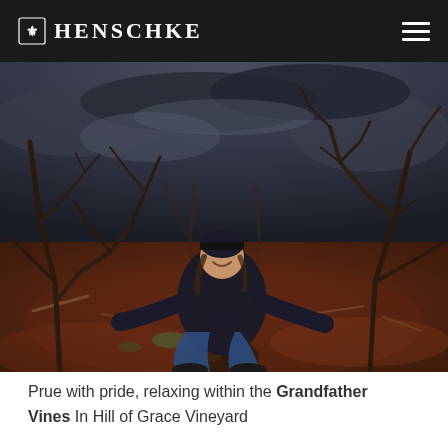HENSCHKE
[Figure (photo): A woman (Prue) sitting and smiling among old, bare grapevines on red soil under a dramatic cloudy sky — the Grandfather Vines in Hill of Grace Vineyard. She is wearing a dark jacket and beanie.]
Prue with pride, relaxing within the Grandfather Vines In Hill of Grace Vineyard